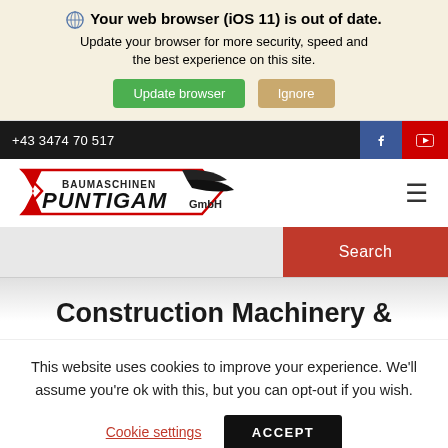Your web browser (iOS 11) is out of date. Update your browser for more security, speed and the best experience on this site.
Update browser
Ignore
+43 3474 70 517
[Figure (logo): Baumaschinen Puntigam GmbH logo with red and black text and flag motif]
Search
Construction Machinery &
This website uses cookies to improve your experience. We'll assume you're ok with this, but you can opt-out if you wish.
Cookie settings
ACCEPT